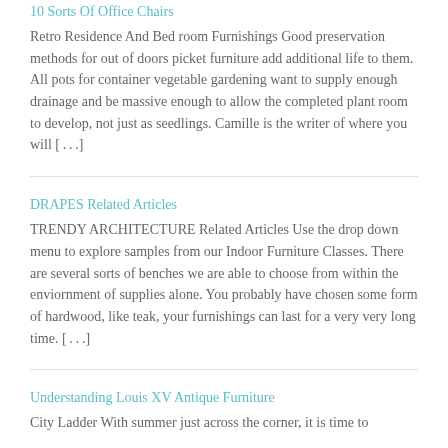10 Sorts Of Office Chairs
Retro Residence And Bed room Furnishings Good preservation methods for out of doors picket furniture add additional life to them. All pots for container vegetable gardening want to supply enough drainage and be massive enough to allow the completed plant room to develop, not just as seedlings. Camille is the writer of where you will [...]
DRAPES Related Articles
TRENDY ARCHITECTURE Related Articles Use the drop down menu to explore samples from our Indoor Furniture Classes. There are several sorts of benches we are able to choose from within the enviornment of supplies alone. You probably have chosen some form of hardwood, like teak, your furnishings can last for a very very long time. [...]
Understanding Louis XV Antique Furniture
City Ladder With summer just across the corner, it is time to